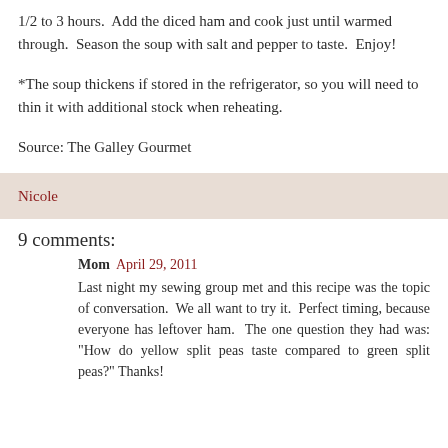1/2 to 3 hours.  Add the diced ham and cook just until warmed through.  Season the soup with salt and pepper to taste.  Enjoy!
*The soup thickens if stored in the refrigerator, so you will need to thin it with additional stock when reheating.
Source: The Galley Gourmet
Nicole
9 comments:
Mom  April 29, 2011
Last night my sewing group met and this recipe was the topic of conversation.  We all want to try it.  Perfect timing, because everyone has leftover ham.  The one question they had was: "How do yellow split peas taste compared to green split peas?" Thanks!